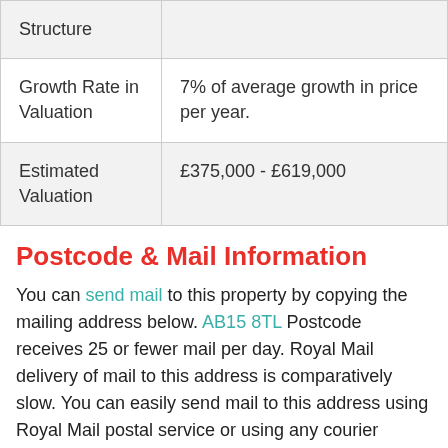| Structure |  |
| Growth Rate in Valuation | 7% of average growth in price per year. |
| Estimated Valuation | £375,000 - £619,000 |
Postcode & Mail Information
You can send mail to this property by copying the mailing address below. AB15 8TL Postcode receives 25 or fewer mail per day. Royal Mail delivery of mail to this address is comparatively slow. You can easily send mail to this address using Royal Mail postal service or using any courier agency.